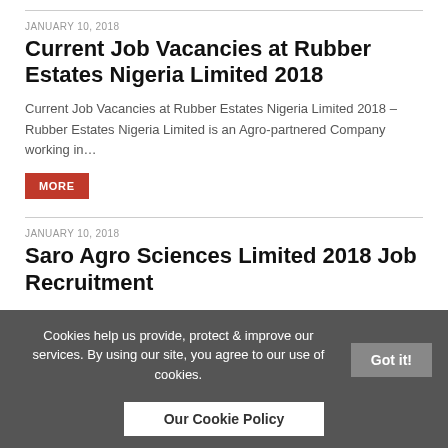JANUARY 10, 2018
Current Job Vacancies at Rubber Estates Nigeria Limited 2018
Current Job Vacancies at Rubber Estates Nigeria Limited 2018 – Rubber Estates Nigeria Limited is an Agro-partnered Company working in…
MORE
JANUARY 10, 2018
Saro Agro Sciences Limited 2018 Job Recruitment
Saro Agro Sciences Limited 2018 Job Recruitment – Saro Agro Sciences Limited is the pioneer in the Nigerian Crop Protection…
MORE
Cookies help us provide, protect & improve our services. By using our site, you agree to our use of cookies. Got it! Our Cookie Policy